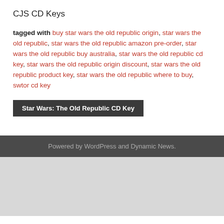CJS CD Keys
tagged with buy star wars the old republic origin, star wars the old republic, star wars the old republic amazon pre-order, star wars the old republic buy australia, star wars the old republic cd key, star wars the old republic origin discount, star wars the old republic product key, star wars the old republic where to buy, swtor cd key
Star Wars: The Old Republic CD Key
Powered by WordPress and Dynamic News.